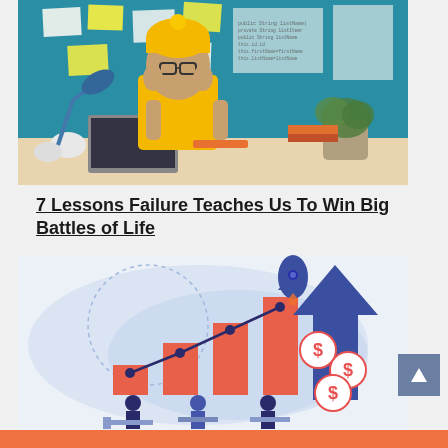[Figure (photo): Man in yellow beanie and yellow t-shirt sitting at a desk looking stressed, with papers and sticky notes on a blue wall behind him showing code, crumpled paper on desk, laptop, lamp]
7 Lessons Failure Teaches Us To Win Big Battles of Life
[Figure (illustration): Business growth illustration with bar chart showing increasing bars in coral/red, an upward blue arrow, a rocket, dollar sign coins, and people working at desks on a light blue/purple background]